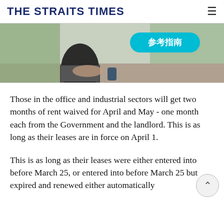THE STRAITS TIMES
[Figure (photo): Advertisement banner showing a person in dark clothing working on a laptop at a table, with a teal pill-shaped button labeled '参考指南' (reference guide in Chinese) overlaid on the upper right of the image. Background shows an outdoor/indoor setting with greenery.]
Those in the office and industrial sectors will get two months of rent waived for April and May - one month each from the Government and the landlord. This is as long as their leases are in force on April 1.
This is as long as their leases were either entered into before March 25, or entered into before March 25 but expired and renewed either automatically